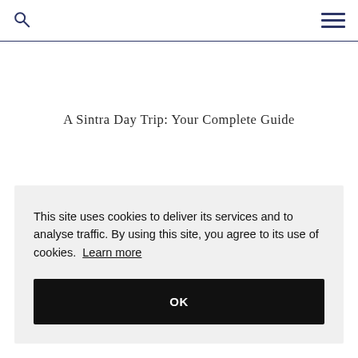A Sintra Day Trip: Your Complete Guide
This site uses cookies to deliver its services and to analyse traffic. By using this site, you agree to its use of cookies. Learn more
OK